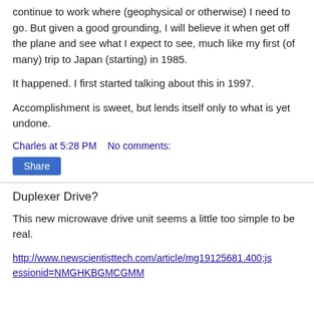continue to work where (geophysical or otherwise) I need to go. But given a good grounding, I will believe it when get off the plane and see what I expect to see, much like my first (of many) trip to Japan (starting) in 1985.
It happened. I first started talking about this in 1997.
Accomplishment is sweet, but lends itself only to what is yet undone.
Charles at 5:28 PM    No comments:
Share
Duplexer Drive?
This new microwave drive unit seems a little too simple to be real.
http://www.newscientisttech.com/article/mg19125681.400;jsessionid=NMGHKBGMCGMM